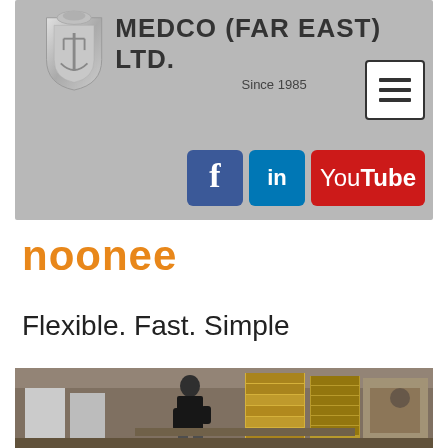[Figure (logo): Medco (Far East) Ltd. company header banner with logo, company name 'MEDCO (FAR EAST) LTD. Since 1985', hamburger menu button, and social media icons (Facebook, LinkedIn, YouTube) on a grey background]
noonee
Flexible. Fast. Simple
[Figure (photo): Factory/warehouse interior photo showing a person in a black shirt working, with shelving units containing yellow bins and industrial equipment in the background]